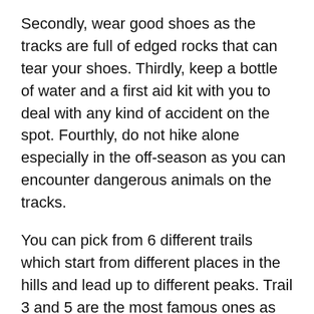Secondly, wear good shoes as the tracks are full of edged rocks that can tear your shoes. Thirdly, keep a bottle of water and a first aid kit with you to deal with any kind of accident on the spot. Fourthly, do not hike alone especially in the off-season as you can encounter dangerous animals on the tracks.
You can pick from 6 different trails which start from different places in the hills and lead up to different peaks. Trail 3 and 5 are the most famous ones as they are easily accessible to the citizens of Islamabad and Rawalpindi.
The hiking tracks are pretty straight and simple so you shouldn't be worried about getting lost. You will come across hiking milestones that will keep you on the tracks and chances are you will meet other